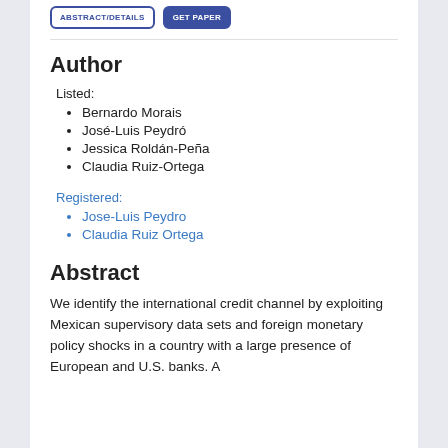Author
Listed:
Bernardo Morais
José-Luis Peydró
Jessica Roldán-Peña
Claudia Ruiz-Ortega
Registered:
Jose-Luis Peydro
Claudia Ruiz Ortega
Abstract
We identify the international credit channel by exploiting Mexican supervisory data sets and foreign monetary policy shocks in a country with a large presence of European and U.S. banks. A